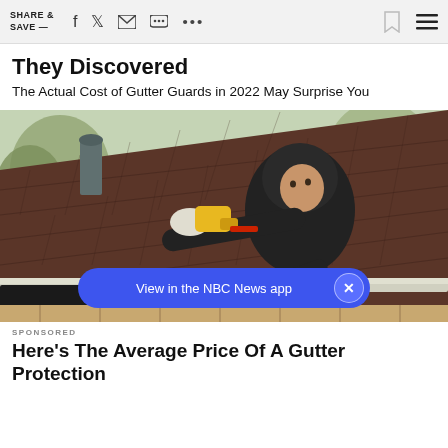SHARE & SAVE —
They Discovered
The Actual Cost of Gutter Guards in 2022 May Surprise You
[Figure (photo): A man in a black hooded jacket using a power drill on gutters along a roofline with brown shingles; trees visible in the background]
View in the NBC News app
SPONSORED
Here's The Average Price Of A Gutter Protection